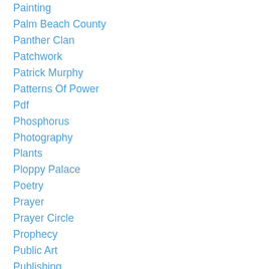Painting
Palm Beach County
Panther Clan
Patchwork
Patrick Murphy
Patterns Of Power
Pdf
Phosphorus
Photography
Plants
Ploppy Palace
Poetry
Prayer
Prayer Circle
Prophecy
Public Art
Publishing
Quese IMC
Racism
Raiford Starke
Rebecca Coughlin